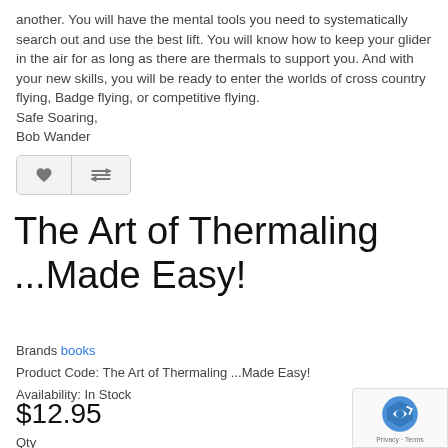another. You will have the mental tools you need to systematically search out and use the best lift. You will know how to keep your glider in the air for as long as there are thermals to support you. And with your new skills, you will be ready to enter the worlds of cross country flying, Badge flying, or competitive flying.
Safe Soaring,
Bob Wander
The Art of Thermaling ...Made Easy!
Brands books
Product Code: The Art of Thermaling ...Made Easy!
Availability: In Stock
$12.95
Qty